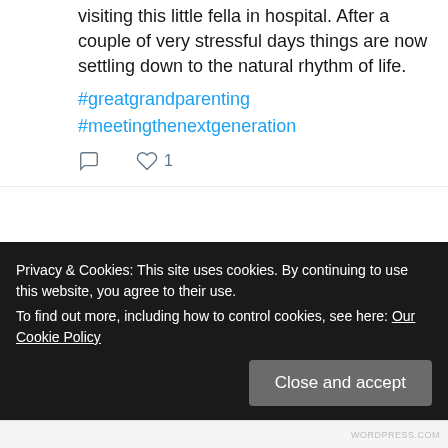visiting this little fella in hospital. After a couple of very stressful days things are now settling down to the natural rhythm of life. #greatgrandparenting #meetingthenextgeneration
♡ 1
John Eccl... @... · Aug 18
We Just been introduced to Marley James Murphy at the hospital. And...
Privacy & Cookies: This site uses cookies. By continuing to use this website, you agree to their use. To find out more, including how to control cookies, see here: Our Cookie Policy
Close and accept